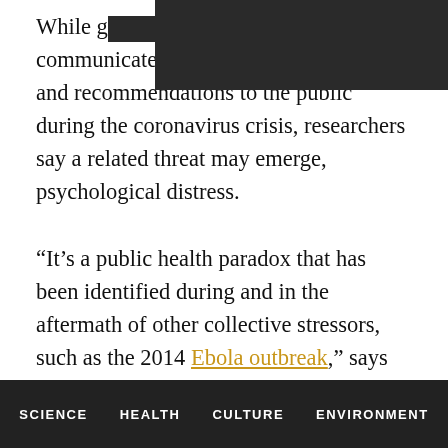While g[redacted]s work to communicate critical risk assessments and recommendations to the public during the coronavirus crisis, researchers say a related threat may emerge, psychological distress.
“It’s a public health paradox that has been identified during and in the aftermath of other collective stressors, such as the 2014 Ebola outbreak,” says Roxane Cohen Silver, professor of psychological science at the University of California, Irvine.
Silver and colleagues describe how media exposure during a shared trauma can amplify negative public [continues]
SCIENCE   HEALTH   CULTURE   ENVIRONMENT